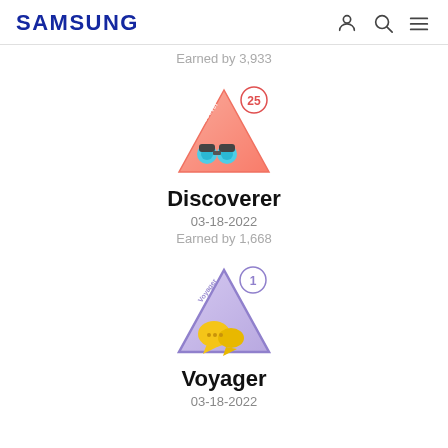SAMSUNG
Earned by 3,933
[Figure (illustration): Discoverer badge: a triangular badge with a pink/salmon gradient, featuring binoculars icon and a red circle with number 25 in the top right corner. Text 'Discover' appears along the top edge of the triangle.]
Discoverer
03-18-2022
Earned by 1,668
[Figure (illustration): Voyager badge: a triangular badge with purple/lavender outline, featuring gold chat bubble icons and a purple circle with number 1 in the top right corner. Text 'Voyager' appears along the top edge of the triangle.]
Voyager
03-18-2022